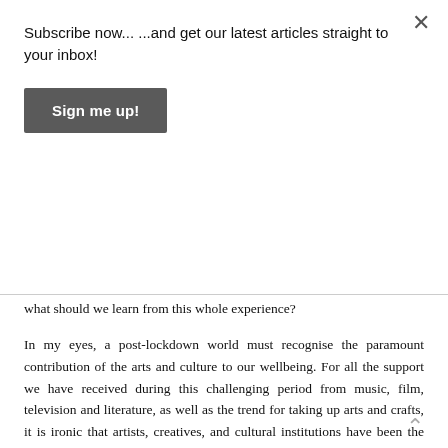Subscribe now... ...and get our latest articles straight to your inbox!
Sign me up!
what should we learn from this whole experience?
In my eyes, a post-lockdown world must recognise the paramount contribution of the arts and culture to our wellbeing. For all the support we have received during this challenging period from music, film, television and literature, as well as the trend for taking up arts and crafts, it is ironic that artists, creatives, and cultural institutions have been the worst hit both financially and spiritually.
When London was shifted into a higher lockdown level recently, it was not shops, gyms or hairdressers that